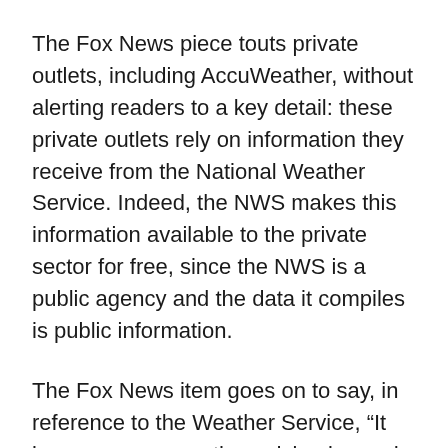The Fox News piece touts private outlets, including AccuWeather, without alerting readers to a key detail: these private outlets rely on information they receive from the National Weather Service. Indeed, the NWS makes this information available to the private sector for free, since the NWS is a public agency and the data it compiles is public information.
The Fox News item goes on to say, in reference to the Weather Service, “It issues severe weather advisories and hijacks local radio and television stations to get the message out. It presumes that citizens do not pay attention to the weather and so it must force important, perhaps lifesaving, information upon them.”
This is not, by the way, a parody.